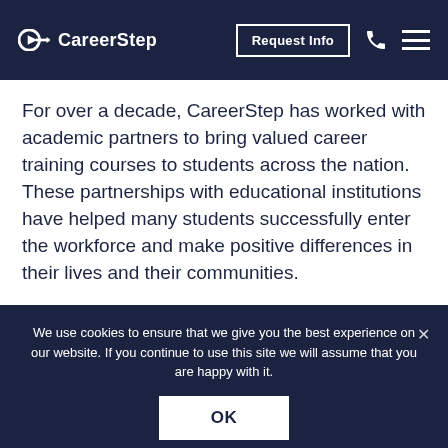CareerStep | Request Info
For over a decade, CareerStep has worked with academic partners to bring valued career training courses to students across the nation. These partnerships with educational institutions have helped many students successfully enter the workforce and make positive differences in their lives and their communities.
We use cookies to ensure that we give you the best experience on our website. If you continue to use this site we will assume that you are happy with it.